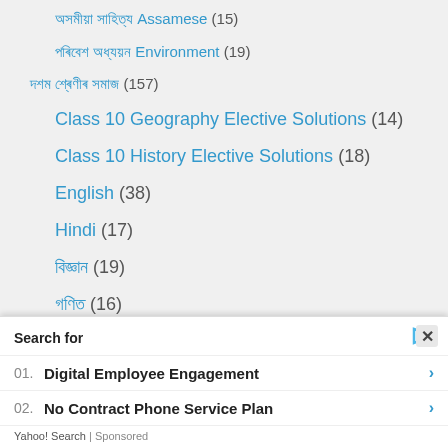অসমীয়া সাহিত্য Assamese (15)
পৰিবেশ অধ্যয়ন Environment (19)
দশম শ্ৰেণীৰ সমাজ (157)
Class 10 Geography Elective Solutions (14)
Class 10 History Elective Solutions (18)
English (38)
Hindi (17)
বিজ্ঞান (19)
গণিত (16)
সামাজিক (18)
Search for
01. Digital Employee Engagement
02. No Contract Phone Service Plan
Yahoo! Search | Sponsored